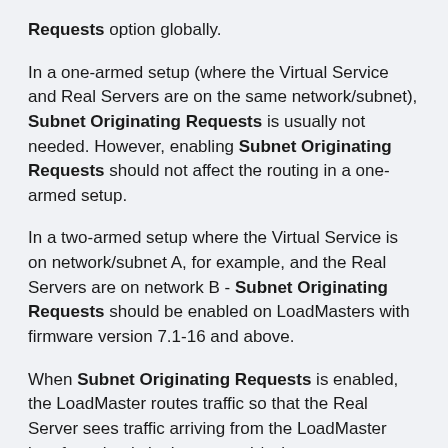Requests option globally.
In a one-armed setup (where the Virtual Service and Real Servers are on the same network/subnet), Subnet Originating Requests is usually not needed. However, enabling Subnet Originating Requests should not affect the routing in a one-armed setup.
In a two-armed setup where the Virtual Service is on network/subnet A, for example, and the Real Servers are on network B - Subnet Originating Requests should be enabled on LoadMasters with firmware version 7.1-16 and above.
When Subnet Originating Requests is enabled, the LoadMaster routes traffic so that the Real Server sees traffic arriving from the LoadMaster interface that is in that network/subnet.